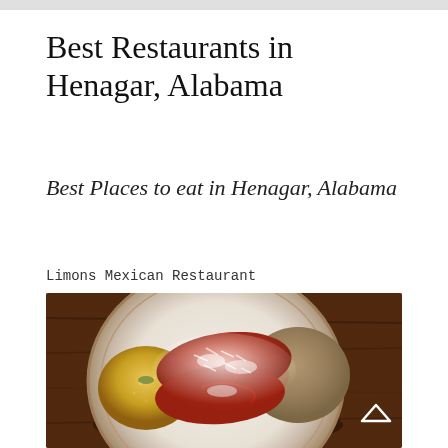Best Restaurants in Henagar, Alabama
Best Places to eat in Henagar, Alabama
Limons Mexican Restaurant
[Figure (photo): A plate of Mexican food showing enchiladas with red sauce and melted cheese/sour cream topping, with a side of rice and refried beans on a white ceramic plate with brown ring accent, set on a dark wood table. A chevron/up arrow is visible in the bottom-right corner of the image.]